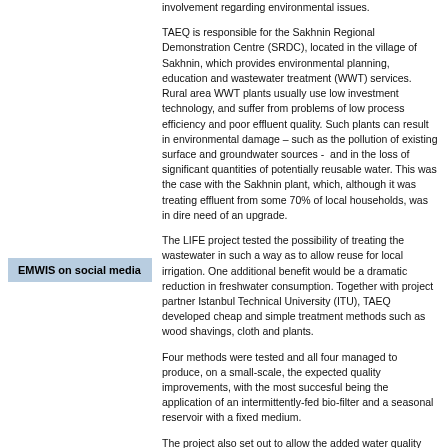involvement regarding environmental issues.
TAEQ is responsible for the Sakhnin Regional Demonstration Centre (SRDC), located in the village of Sakhnin, which provides environmental planning, education and wastewater treatment (WWT) services. Rural area WWT plants usually use low investment technology, and suffer from problems of low process efficiency and poor effluent quality. Such plants can result in environmental damage – such as the pollution of existing surface and groundwater sources -  and in the loss of significant quantities of potentially reusable water. This was the case with the Sakhnin plant, which, although it was treating effluent from some 70% of local households, was in dire need of an upgrade.
The LIFE project tested the possibility of treating the wastewater in such a way as to allow reuse for local irrigation. One additional benefit would be a dramatic reduction in freshwater consumption. Together with project partner Istanbul Technical University (ITU), TAEQ developed cheap and simple treatment methods such as wood shavings, cloth and plants.
Four methods were tested and all four managed to produce, on a small-scale, the expected quality improvements, with the most succesful being the application of an intermittently-fed bio-filter and a seasonal reservoir with a fixed medium.
The project also set out to allow the added water quality benefits to be studied and communicated both to local communities, and further afield.
EMWIS on social media